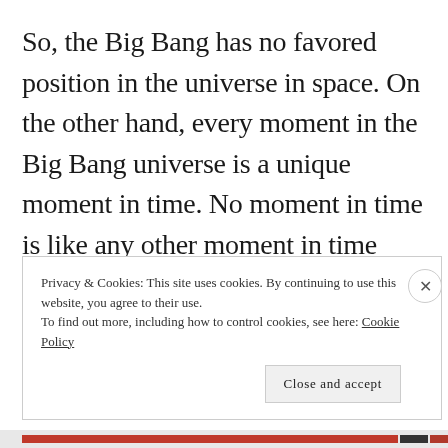So, the Big Bang has no favored position in the universe in space. On the other hand, every moment in the Big Bang universe is a unique moment in time. No moment in time is like any other moment in time because you are on the surface of this expanding ball which acts like a clock.
Privacy & Cookies: This site uses cookies. By continuing to use this website, you agree to their use.
To find out more, including how to control cookies, see here: Cookie Policy
Close and accept